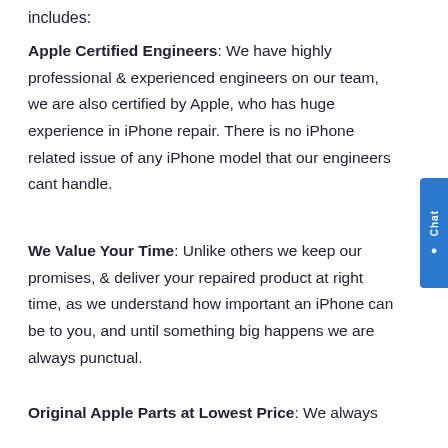includes:
Apple Certified Engineers: We have highly professional & experienced engineers on our team, we are also certified by Apple, who has huge experience in iPhone repair. There is no iPhone related issue of any iPhone model that our engineers cant handle.
We Value Your Time: Unlike others we keep our promises, & deliver your repaired product at right time, as we understand how important an iPhone can be to you, and until something big happens we are always punctual.
Original Apple Parts at Lowest Price: We always